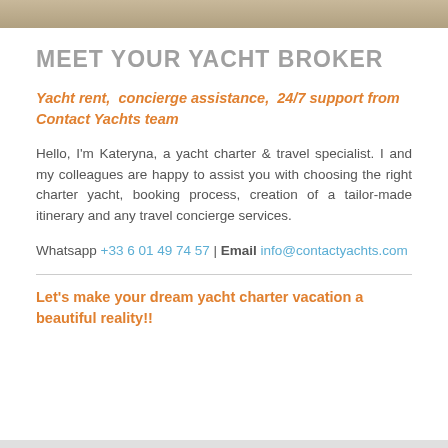[Figure (photo): Partial photo strip at top of page showing yacht deck surface]
MEET YOUR YACHT BROKER
Yacht rent,  concierge assistance,  24/7 support from Contact Yachts team
Hello, I'm Kateryna, a yacht charter & travel specialist. I and my colleagues are happy to assist you with choosing the right charter yacht, booking process, creation of a tailor-made itinerary and any travel concierge services.
Whatsapp +33 6 01 49 74 57 | Email info@contactyachts.com
Let's make your dream yacht charter vacation a beautiful reality!!